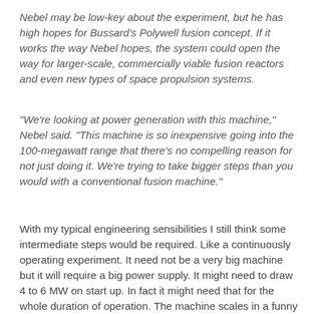Nebel may be low-key about the experiment, but he has high hopes for Bussard's Polywell fusion concept. If it works the way Nebel hopes, the system could open the way for larger-scale, commercially viable fusion reactors and even new types of space propulsion systems.
"We're looking at power generation with this machine," Nebel said. "This machine is so inexpensive going into the 100-megawatt range that there's no compelling reason for not just doing it. We're trying to take bigger steps than you would with a conventional fusion machine."
With my typical engineering sensibilities I still think some intermediate steps would be required. Like a continuously operating experiment. It need not be a very big machine but it will require a big power supply. It might need to draw 4 to 6 MW on start up. In fact it might need that for the whole duration of operation. The machine scales in a funny way. Coil power (for a copper coil demo) goes up as the reactor gets large but the accelerator power goes down.